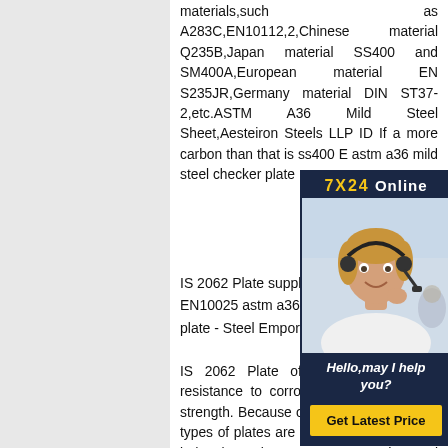materials,such as A283C,EN10112,2,Chinese material Q235B,Japan material SS400 and SM400A,European material EN S235JR,Germany material DIN ST37-2,etc.ASTM A36 Mild Steel Sheet,Aesteiron Steels LLP ID If a more carbon than that is ss400 E astm a36 mild steel checker plate
[Figure (photo): Customer service advertisement widget with '7X24 Online' header, photo of a woman with a headset smiling, text 'Hello,may I help you?' and a yellow 'Get Latest Price' button on a dark navy background.]
IS 2062 Plate suppliers, is 2062 e EN10025 astm a36 mild steel ch plate - Steel Emporium
IS 2062 Plate offer long life usage, resistance to corrosion and high tensile strength. Because of these qualities, such types of plates are used in many different industries. These IS 2062 grade steel plate can also be customized, to meet the